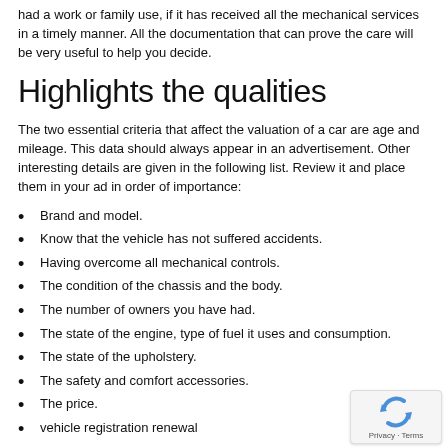had a work or family use, if it has received all the mechanical services in a timely manner. All the documentation that can prove the care will be very useful to help you decide.
Highlights the qualities
The two essential criteria that affect the valuation of a car are age and mileage. This data should always appear in an advertisement. Other interesting details are given in the following list. Review it and place them in your ad in order of importance:
Brand and model.
Know that the vehicle has not suffered accidents.
Having overcome all mechanical controls.
The condition of the chassis and the body.
The number of owners you have had.
The state of the engine, type of fuel it uses and consumption.
The state of the upholstery.
The safety and comfort accessories.
The price.
vehicle registration renewal
[Figure (logo): reCAPTCHA privacy badge with rotating arrows icon and Privacy - Terms text]